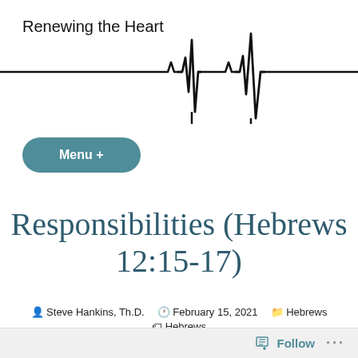Renewing the Heart
[Figure (illustration): ECG/heartbeat line graphic extending across the top of the page]
Menu +
Responsibilities (Hebrews 12:15-17)
Steve Hankins, Th.D.  February 15, 2021  Hebrews  Hebrews
Follow  ...